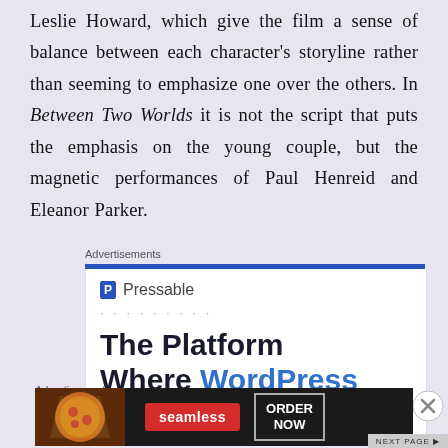Leslie Howard, which give the film a sense of balance between each character's storyline rather than seeming to emphasize one over the others. In Between Two Worlds it is not the script that puts the emphasis on the young couple, but the magnetic performances of Paul Henreid and Eleanor Parker.
Advertisements
[Figure (screenshot): Pressable advertisement banner showing the Pressable logo with blue P icon, decorative dots, and large text reading 'The Platform Where WordPress Works Best']
Advertisements
[Figure (screenshot): Seamless food delivery advertisement showing pizza image on left, red Seamless badge in center, and ORDER NOW button on right, dark background]